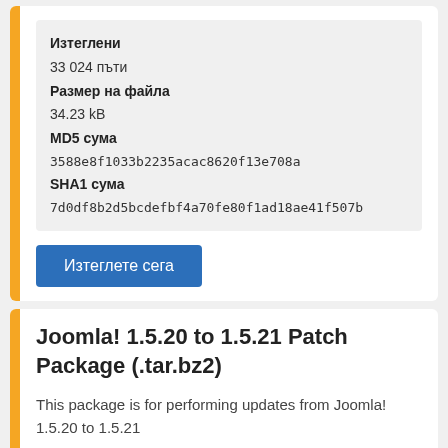Изтеглени
33 024 пъти
Размер на файла
34.23 kB
MD5 сума
3588e8f1033b2235acac8620f13e708a
SHA1 сума
7d0df8b2d5bcdefbf4a70fe80f1ad18ae41f507b
Изтеглете сега
Joomla! 1.5.20 to 1.5.21 Patch Package (.tar.bz2)
This package is for performing updates from Joomla! 1.5.20 to 1.5.21